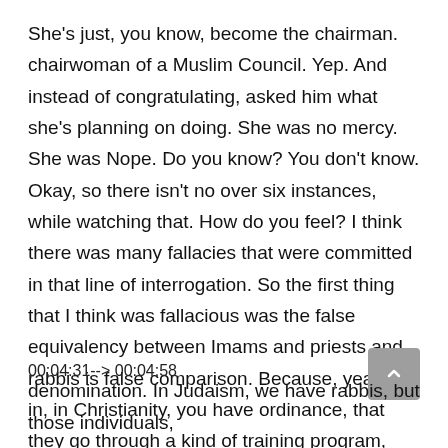She's just, you know, become the chairman. chairwoman of a Muslim Council. Yep. And instead of congratulating, asked him what she's planning on doing. She was no mercy. She was Nope. Do you know? You don't know. Okay, so there isn't no over six instances, while watching that. How do you feel? I think there was many fallacies that were committed in that line of interrogation. So the first thing that I think was fallacious was the false equivalency between Imams and priests and rabbis is false comparison. Because, yeah, so in, in Christianity, you have ordinance, that they go through a kind of training program, then they become either priests or whatever it is, depending on the dominant
00:04:31--> 00:04:58
denomination. In Judaism, we have rabbis, but those individuals,